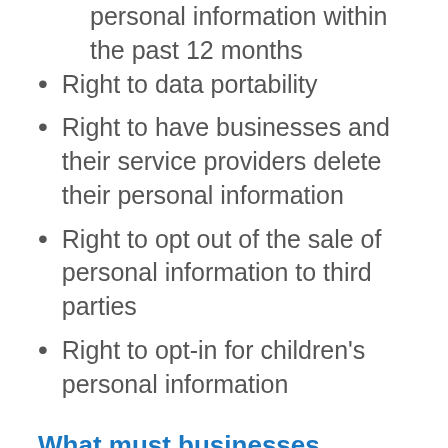personal information within the past 12 months
Right to data portability
Right to have businesses and their service providers delete their personal information
Right to opt out of the sale of personal information to third parties
Right to opt-in for children's personal information
What must businesses disclose if a consumer makes a verified request?